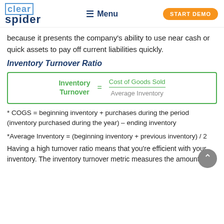clear spider — Menu — START DEMO
because it presents the company's ability to use near cash or quick assets to pay off current liabilities quickly.
Inventory Turnover Ratio
* COGS = beginning inventory + purchases during the period (inventory purchased during the year) – ending inventory
*Average Inventory = (beginning inventory + previous inventory) / 2
Having a high turnover ratio means that you're efficient with your inventory. The inventory turnover metric measures the amount of